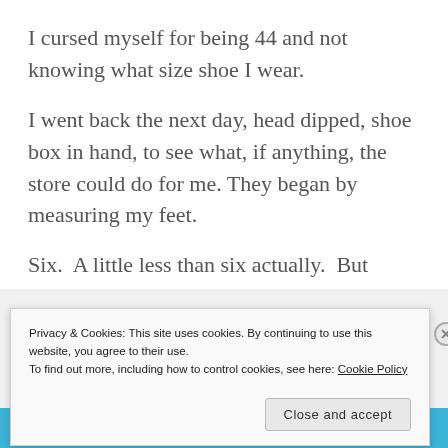I cursed myself for being 44 and not knowing what size shoe I wear.
I went back the next day, head dipped, shoe box in hand, to see what, if anything, the store could do for me. They began by measuring my feet.
Six.  A little less than six actually.  But
Privacy & Cookies: This site uses cookies. By continuing to use this website, you agree to their use.
To find out more, including how to control cookies, see here: Cookie Policy
Close and accept